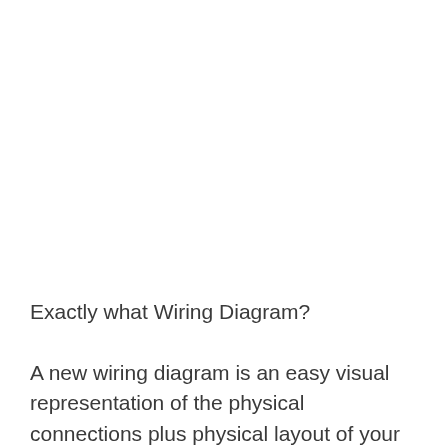Exactly what Wiring Diagram?
A new wiring diagram is an easy visual representation of the physical connections plus physical layout of your electrical system